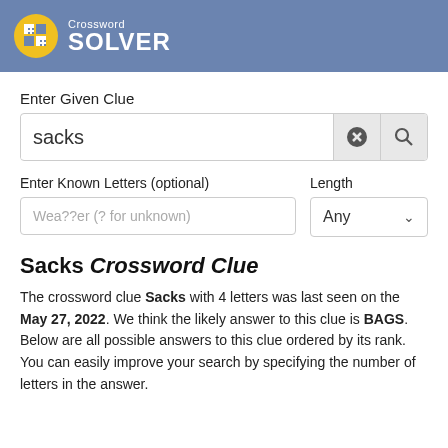Crossword SOLVER
Enter Given Clue
sacks
Enter Known Letters (optional)
Length
Wea??er (? for unknown)
Any
Sacks Crossword Clue
The crossword clue Sacks with 4 letters was last seen on the May 27, 2022. We think the likely answer to this clue is BAGS. Below are all possible answers to this clue ordered by its rank. You can easily improve your search by specifying the number of letters in the answer.